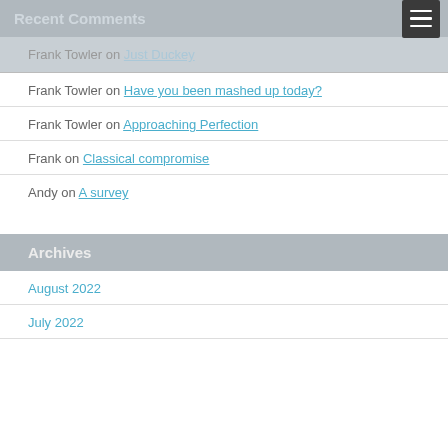Recent Comments
Frank Towler on Just Duckey
Frank Towler on Have you been mashed up today?
Frank Towler on Approaching Perfection
Frank on Classical compromise
Andy on A survey
Archives
August 2022
July 2022